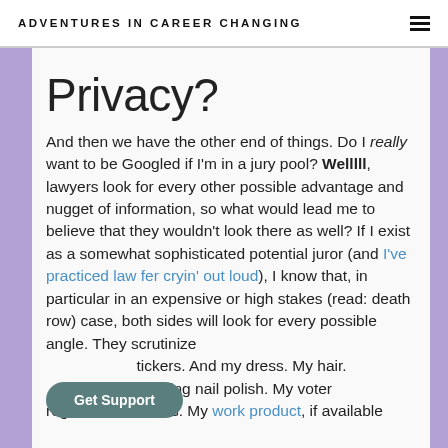ADVENTURES IN CAREER CHANGING
Privacy?
And then we have the other end of things. Do I really want to be Googled if I'm in a jury pool? Wellll, lawyers look for every other possible advantage and nugget of information, so what would lead me to believe that they wouldn't look there as well? If I exist as a somewhat sophisticated potential juror (and I've practiced law fer cryin' out loud), I know that, in particular in an expensive or high stakes (read: death row) case, both sides will look for every possible angle. They scrutinize [...]stickers. And my dress. My hair. [...]wearing nail polish. My voter registration records. My work product, if available